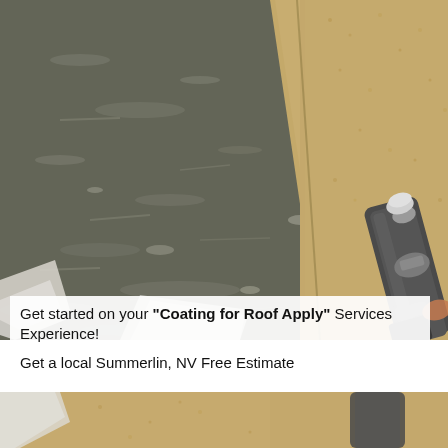[Figure (photo): Aerial view of a flat roof surface showing dark weathered roofing material with debris, alongside granule-covered shingles and a roofing tool (torch/applicator) on the right side.]
Get started on your "Coating for Roof Apply" Services Experience!
Get a local Summerlin, NV Free Estimate
[Figure (photo): Bottom strip showing granule-covered roofing shingles and a roofing applicator tool, continuation of the roof scene.]